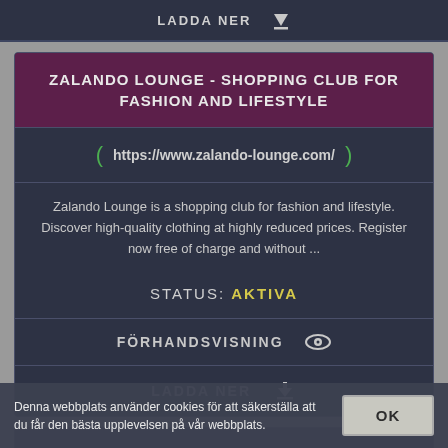LADDA NER
ZALANDO LOUNGE - SHOPPING CLUB FOR FASHION AND LIFESTYLE
https://www.zalando-lounge.com/
Zalando Lounge is a shopping club for fashion and lifestyle. Discover high-quality clothing at highly reduced prices. Register now free of charge and without ...
STATUS: AKTIVA
FÖRHANDSVISNING
LADDA NER
Denna webbplats använder cookies för att säkerställa att du får den bästa upplevelsen på vår webbplats.